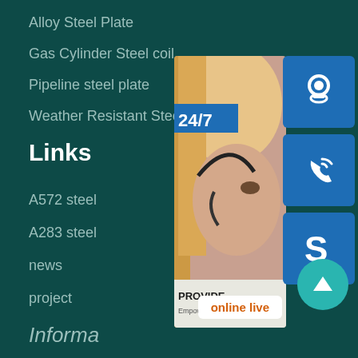Alloy Steel Plate
Gas Cylinder Steel coil
Pipeline steel plate
Weather Resistant Steel Plate
Links
A572 steel
A283 steel
news
project
Information
[Figure (infographic): Customer service widget with photo of woman with headset, 24/7 label, blue icon buttons for headset, phone, and Skype, online live button, and teal scroll-up arrow button]